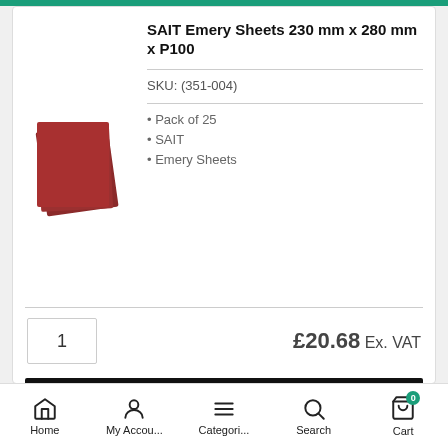SAIT Emery Sheets 230 mm x 280 mm x P100
SKU: (351-004)
Pack of 25
SAIT
Emery Sheets
1
£20.68 Ex. VAT
View Product
Add to basket
Home  My Accou...  Categori...  Search  Cart